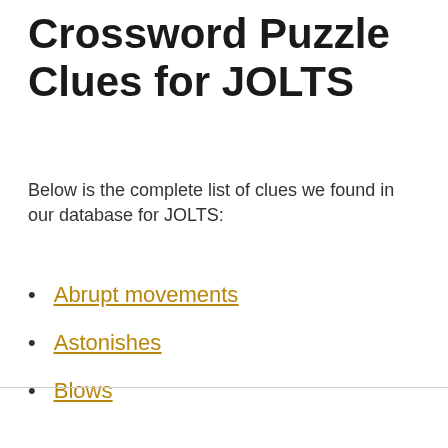Crossword Puzzle Clues for JOLTS
Below is the complete list of clues we found in our database for JOLTS:
Abrupt movements
Astonishes
Blows